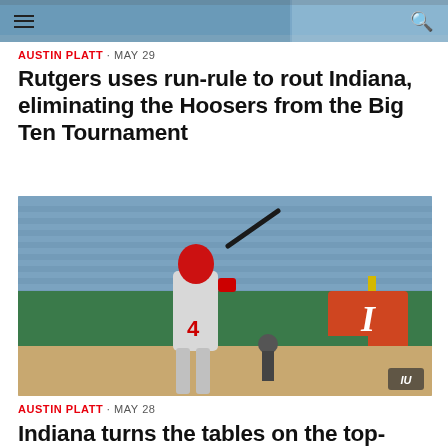AUSTIN PLATT · MAY 29
Rutgers uses run-rule to rout Indiana, eliminating the Hoosers from the Big Ten Tournament
[Figure (photo): Baseball player wearing #4 red helmet and gray uniform mid-swing at bat, with empty blue stadium seats and green outfield wall with Illinois logo visible in background]
AUSTIN PLATT · MAY 28
Indiana turns the tables on the top-